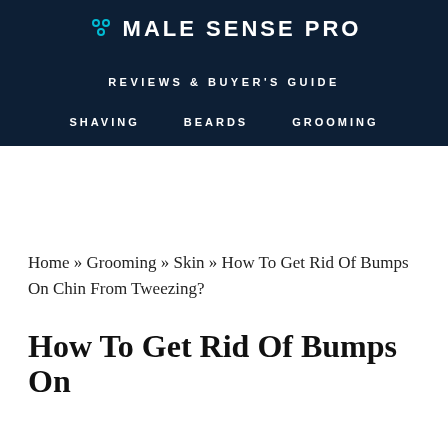MALE SENSE PRO
REVIEWS & BUYER'S GUIDE
SHAVING   BEARDS   GROOMING
Home » Grooming » Skin » How To Get Rid Of Bumps On Chin From Tweezing?
How To Get Rid Of Bumps On